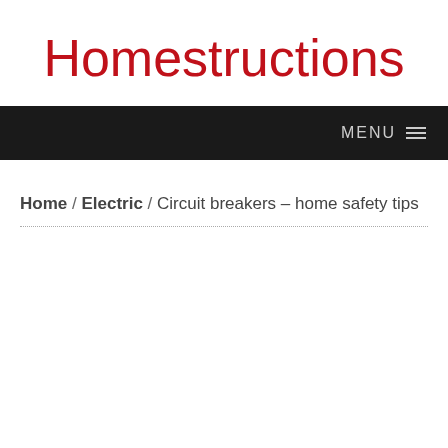Homestructions
MENU ≡
Home / Electric / Circuit breakers – home safety tips